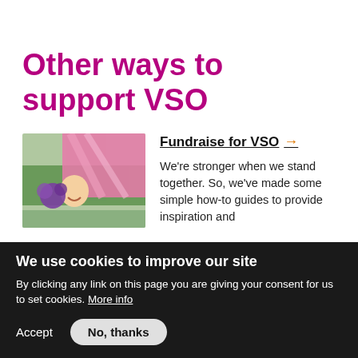Other ways to support VSO
[Figure (photo): A smiling person holding purple flowers and a pink flag outdoors at what appears to be a public event or rally.]
Fundraise for VSO →
We're stronger when we stand together. So, we've made some simple how-to guides to provide inspiration and
We use cookies to improve our site
By clicking any link on this page you are giving your consent for us to set cookies. More info
Accept   No, thanks